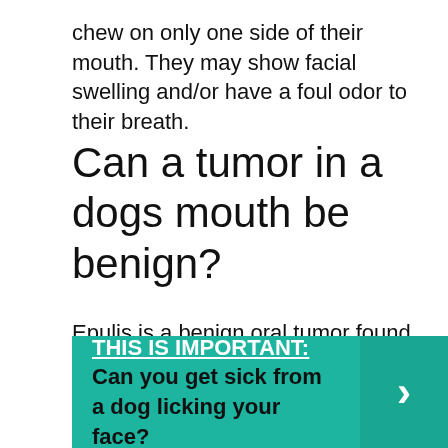chew on only one side of their mouth. They may show facial swelling and/or have a foul odor to their breath.
Can a tumor in a dogs mouth be benign?
Epulis is a benign oral tumor found in dogs. Epulis is a general term used to define a mass of any type arising from the gums. These tumors can occur at any age, but middle-aged and geriatric dogs are affected most often.
THIS IS IMPORTANT:  Can you get sick from a dog licking your face?